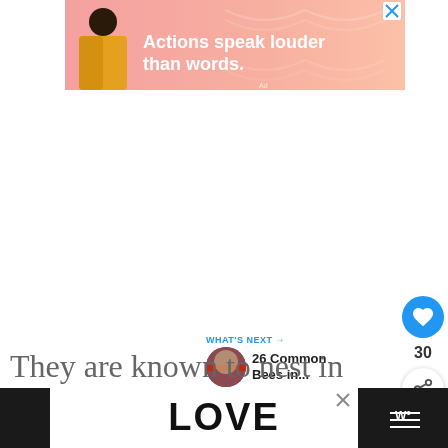[Figure (screenshot): Advertisement banner with pink/salmon gradient background, silhouette of person in yellow jacket, text 'Actions speak louder than words.' in white bold font, with a close (X) button in blue top right corner]
They are known to nest in windo
planters, flowerbeds, and under shrubs.
[Figure (screenshot): Bottom advertisement banner showing ornate 'LOVE' text logo in black and white decorative style with a red heart element, X close button, dark bars on left and right sides with weather icon on right]